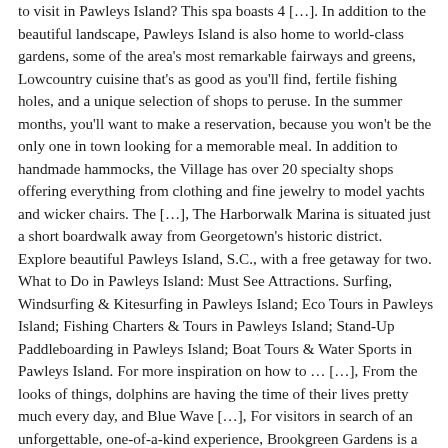to visit in Pawleys Island? This spa boasts 4 […]. In addition to the beautiful landscape, Pawleys Island is also home to world-class gardens, some of the area's most remarkable fairways and greens, Lowcountry cuisine that's as good as you'll find, fertile fishing holes, and a unique selection of shops to peruse. In the summer months, you'll want to make a reservation, because you won't be the only one in town looking for a memorable meal. In addition to handmade hammocks, the Village has over 20 specialty shops offering everything from clothing and fine jewelry to model yachts and wicker chairs. The […], The Harborwalk Marina is situated just a short boardwalk away from Georgetown's historic district. Explore beautiful Pawleys Island, S.C., with a free getaway for two. What to Do in Pawleys Island: Must See Attractions. Surfing, Windsurfing & Kitesurfing in Pawleys Island; Eco Tours in Pawleys Island; Fishing Charters & Tours in Pawleys Island; Stand-Up Paddleboarding in Pawleys Island; Boat Tours & Water Sports in Pawleys Island. For more inspiration on how to … […], From the looks of things, dolphins are having the time of their lives pretty much every day, and Blue Wave […], For visitors in search of an unforgettable, one-of-a-kind experience, Brookgreen Gardens is a must-see. © 2020 Expedia, Inc, an Expedia Group Company. more. Pawley's … Georgetown County Museum. This field is for validation purposes and should be left unchanged. All rights reserved. Want to learn about the almost 300 years of history of the old city of … These family-friendly tours